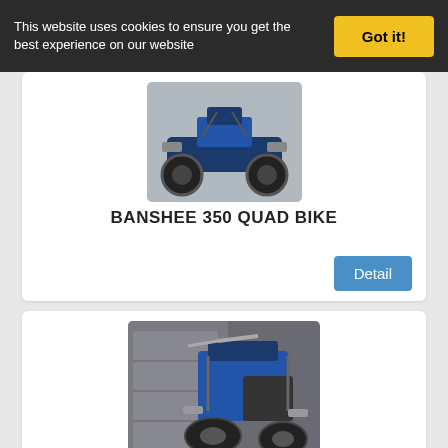This website uses cookies to ensure you get the best experience on our website
Got it!
[Figure (photo): Photo of a blue Banshee 350 quad bike ATV viewed from the side, on a concrete surface]
BANSHEE 350 QUAD BIKE
Detail
[Figure (photo): Photo of a blue Yamaha Banshee 350cc quad ATV viewed from above/side in a garage or storage area]
Banshee 350cc
Detail